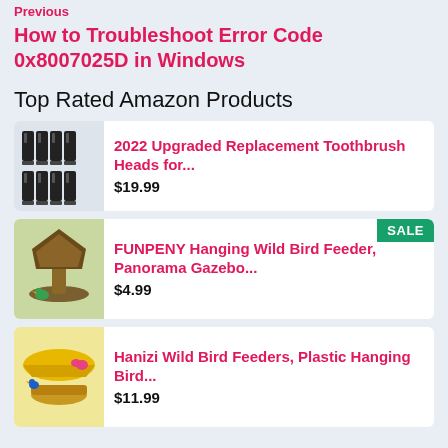Previous
How to Troubleshoot Error Code 0x8007025D in Windows
Top Rated Amazon Products
[Figure (photo): Product image of toothbrush replacement heads, 8 black brush heads arranged in two rows]
2022 Upgraded Replacement Toothbrush Heads for... $19.99
[Figure (photo): Product image of a hanging wild bird feeder, gazebo style, bronze/copper color with a green bird visible]
FUNPENY Hanging Wild Bird Feeder, Panorama Gazebo... $4.99
[Figure (photo): Product image of a yellow wild bird feeder with birds around it]
Hanizi Wild Bird Feeders, Plastic Hanging Bird... $11.99